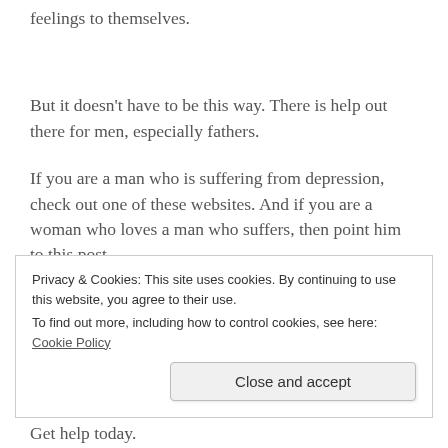feelings to themselves.
But it doesn't have to be this way. There is help out there for men, especially fathers.
If you are a man who is suffering from depression, check out one of these websites. And if you are a woman who loves a man who suffers, then point him to this post.
You...
Privacy & Cookies: This site uses cookies. By continuing to use this website, you agree to their use.
To find out more, including how to control cookies, see here: Cookie Policy
Get help today.